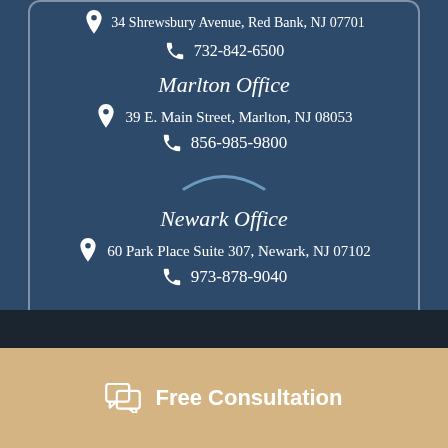34 Shrewsbury Avenue, Red Bank, NJ 07701
732-842-6500
Marlton Office
39 E. Main Street, Marlton, NJ 08053
856-985-9800
Newark Office
60 Park Place Suite 307, Newark, NJ 07102
973-878-9040
Free Consultation